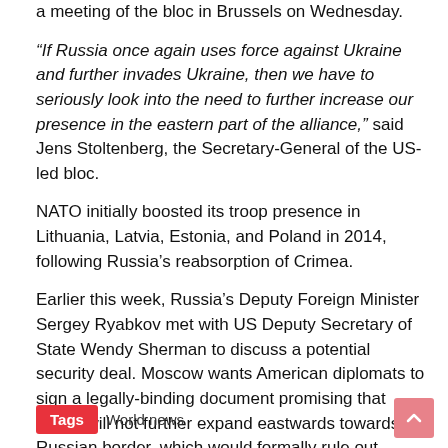a meeting of the bloc in Brussels on Wednesday.
“If Russia once again uses force against Ukraine and further invades Ukraine, then we have to seriously look into the need to further increase our presence in the eastern part of the alliance,” said Jens Stoltenberg, the Secretary-General of the US-led bloc.
NATO initially boosted its troop presence in Lithuania, Latvia, Estonia, and Poland in 2014, following Russia’s reabsorption of Crimea.
Earlier this week, Russia’s Deputy Foreign Minister Sergey Ryabkov met with US Deputy Secretary of State Wendy Sherman to discuss a potential security deal. Moscow wants American diplomats to sign a legally-binding document promising that NATO will not further expand eastwards towards the Russian border, which would formally rule out admitting both Ukraine and Georgia, two countries that both wish to join the bloc.
Tags  World news